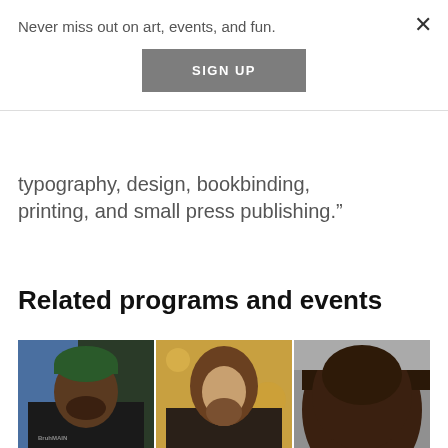Never miss out on art, events, and fun.
SIGN UP
typography, design, bookbinding, printing, and small press publishing.”
Related programs and events
[Figure (photo): Three portrait photos side by side: a Black man wearing a green beanie and black shirt with 'BruhMAIN' text, a White man with long brown hair and beard, and a close-up of a Black man's face against a gray background.]